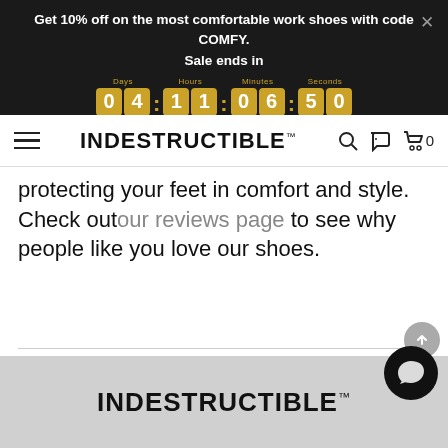Get 10% off on the most comfortable work shoes with code COMFY. Sale ends in 04:11:06:50
[Figure (screenshot): Navigation bar with hamburger menu, INDESTRUCTIBLE logo, search and cart icons]
protecting your feet in comfort and style. Check out our reviews page to see why people like you love our shoes.
[Figure (infographic): Social sharing buttons: Twitter, Facebook, Pinterest, Email]
INDESTRUCTIBLE logo in footer on grey background